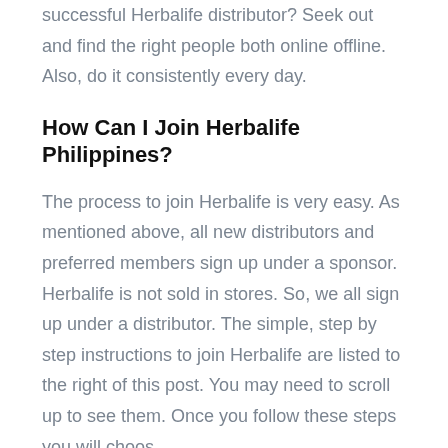successful Herbalife distributor? Seek out and find the right people both online offline. Also, do it consistently every day.
How Can I Join Herbalife Philippines?
The process to join Herbalife is very easy. As mentioned above, all new distributors and preferred members sign up under a sponsor. Herbalife is not sold in stores. So, we all sign up under a distributor. The simple, step by step instructions to join Herbalife are listed to the right of this post. You may need to scroll up to see them. Once you follow these steps you will choos